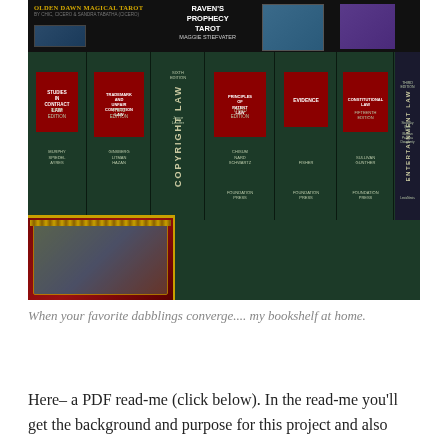[Figure (photo): A photograph of a bookshelf containing a mix of tarot books (Golden Dawn Magical Tarot, Raven's Prophecy Tarot by Maggie Stiefvater) on top, and numerous law textbooks below (Copyright Law, Principles of Patent Law Third Edition, Evidence, Constitutional Law Fifteenth Edition, Entertainment Law Third Edition, Studies in Contract Law Fifth Edition, Trademark and Unfair Competition Law Third Edition, and others). A decorative red-framed item with gold ornamentation is visible in the bottom left.]
When your favorite dabblings converge.... my bookshelf at home.
Here– a PDF read-me (click below). In the read-me you'll get the background and purpose for this project and also